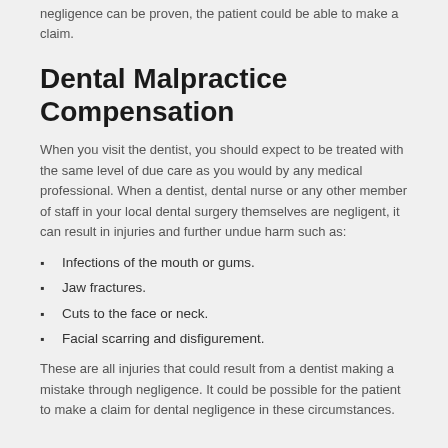negligence can be proven, the patient could be able to make a claim.
Dental Malpractice Compensation
When you visit the dentist, you should expect to be treated with the same level of due care as you would by any medical professional. When a dentist, dental nurse or any other member of staff in your local dental surgery themselves are negligent, it can result in injuries and further undue harm such as:
Infections of the mouth or gums.
Jaw fractures.
Cuts to the face or neck.
Facial scarring and disfigurement.
These are all injuries that could result from a dentist making a mistake through negligence. It could be possible for the patient to make a claim for dental negligence in these circumstances.